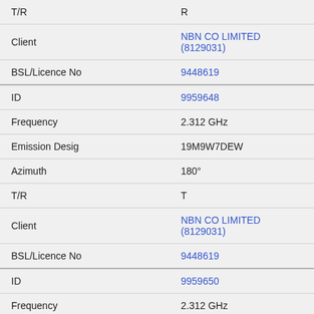| Field | Value |
| --- | --- |
| T/R | R |
| Client | NBN CO LIMITED (8129031) |
| BSL/Licence No | 9448619 |
| ID | 9959648 |
| Frequency | 2.312 GHz |
| Emission Desig | 19M9W7DEW |
| Azimuth | 180° |
| T/R | T |
| Client | NBN CO LIMITED (8129031) |
| BSL/Licence No | 9448619 |
| ID | 9959650 |
| Frequency | 2.312 GHz |
| Emission Desig | 19M9W7DEW |
| Azimuth | 180° |
| T/R | R |
| Client | NBN CO LIMITED (8129031) |